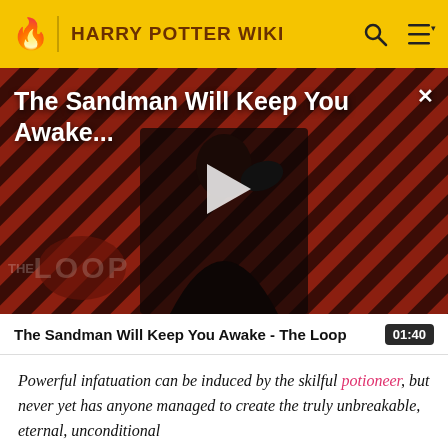HARRY POTTER WIKI
[Figure (screenshot): Video thumbnail for 'The Sandman Will Keep You Awake - The Loop' showing a dark-cloaked figure against a red diagonal striped background with a play button overlay and THE LOOP watermark]
The Sandman Will Keep You Awake - The Loop  01:40
Powerful infatuation can be induced by the skilful potioneer, but never yet has anyone managed to create the truly unbreakable, eternal, unconditional